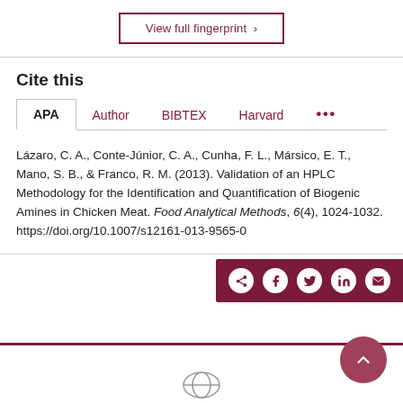View full fingerprint ›
Cite this
APA | Author | BIBTEX | Harvard | ...
Lázaro, C. A., Conte-Júnior, C. A., Cunha, F. L., Mársico, E. T., Mano, S. B., & Franco, R. M. (2013). Validation of an HPLC Methodology for the Identification and Quantification of Biogenic Amines in Chicken Meat. Food Analytical Methods, 6(4), 1024-1032. https://doi.org/10.1007/s12161-013-9565-0
[Figure (other): Share bar with social media icons (share, Facebook, Twitter, LinkedIn, email) and back-to-top button, plus footer with university logo]